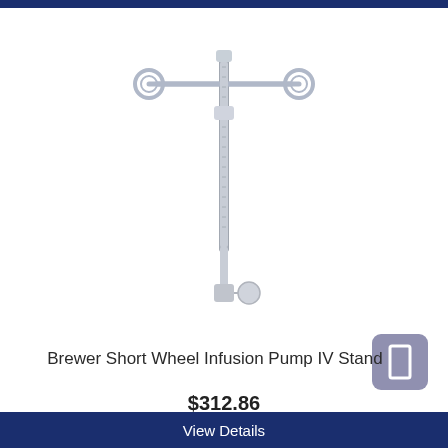[Figure (photo): IV stand product photo: Brewer Short Wheel Infusion Pump IV Stand — a chrome/stainless steel vertical pole with two hook arms at the top and a wheeled base connector at the bottom with a knob.]
Brewer Short Wheel Infusion Pump IV Stand
$312.86
View Details